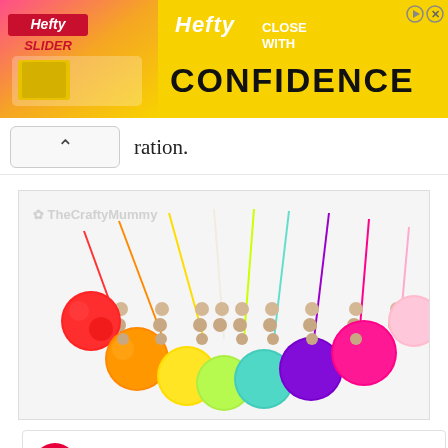[Figure (advertisement): Hefty Slider Bags advertisement banner. Pink/orange/yellow gradient background. Left side shows Hefty Slider bags packaging. Right side shows 'Hefty CLOSE WITH CONFIDENCE' text in large bold font.]
ration.
[Figure (photo): Colorful pom-pom keychains or bag charms arranged in a fan shape. Each keychain has wooden beads and a large fluffy pom-pom in rainbow colors: red, orange, yellow, lime green, light green, teal/mint, purple, hot pink, and pink. White background.]
[Figure (infographic): Shop promotion banner for TheCraftyMummy. Shows circular logo on left, text 'Check out our shop TheCraftyMummy' in center, and red 'Shop Now!' button on right. Below shows partial product images including mugs.]